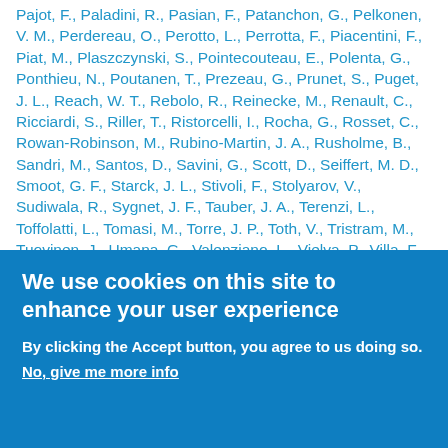Pajot, F., Paladini, R., Pasian, F., Patanchon, G., Pelkonen, V. M., Perdereau, O., Perotto, L., Perrotta, F., Piacentini, F., Piat, M., Plaszczynski, S., Pointecouteau, E., Polenta, G., Ponthieu, N., Poutanen, T., Prezeau, G., Prunet, S., Puget, J. L., Reach, W. T., Rebolo, R., Reinecke, M., Renault, C., Ricciardi, S., Riller, T., Ristorcelli, I., Rocha, G., Rosset, C., Rowan-Robinson, M., Rubino-Martin, J. A., Rusholme, B., Sandri, M., Santos, D., Savini, G., Scott, D., Seiffert, M. D., Smoot, G. F., Starck, J. L., Stivoli, F., Stolyarov, V., Sudiwala, R., Sygnet, J. F., Tauber, J. A., Terenzi, L., Toffolatti, L., Tomasi, M., Torre, J. P., Toth, V., Tristram, M., Tuovinen, J., Umana, G., Valenziano, L., Vielva, P., Villa, F., Vittorio, N.
We use cookies on this site to enhance your user experience
By clicking the Accept button, you agree to us doing so.
No, give me more info